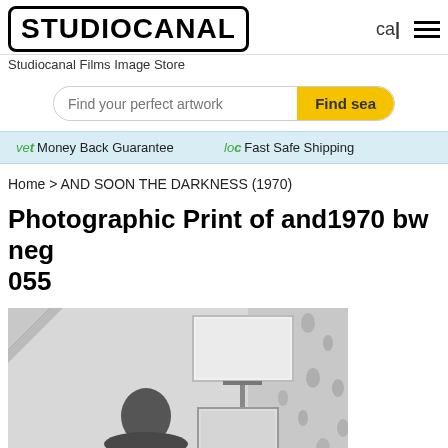STUDIOCANAL
Studiocanal Films Image Store
Find your perfect artwork  Find sea
vet Money Back Guarantee   loc Fast Safe Shipping
Home > AND SOON THE DARKNESS (1970)
Photographic Print of and1970 bw neg 055
[Figure (photo): Black and white photographic print showing a person from behind and lighting/filming equipment including a light panel and reflector on a stand, against a floral wallpaper background.]